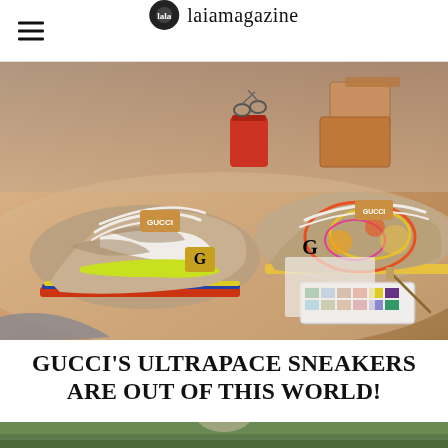laiamagazine
[Figure (photo): Two Gucci Ultrapace sneakers displayed on a light beige surface alongside art supplies including scissors, a red cup, paint palette, brushes, and cardboard boxes in the background. The sneakers feature colorful designs with neon yellow, red, blue accents and Gucci branding.]
GUCCI'S ULTRAPACE SNEAKERS ARE OUT OF THIS WORLD!
[Figure (photo): Bottom portion of a second photo visible, showing an outdoor green scene.]